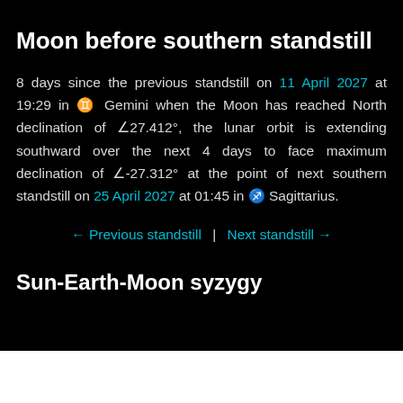Moon before southern standstill
8 days since the previous standstill on 11 April 2027 at 19:29 in ♊ Gemini when the Moon has reached North declination of ∠27.412°, the lunar orbit is extending southward over the next 4 days to face maximum declination of ∠-27.312° at the point of next southern standstill on 25 April 2027 at 01:45 in ♐ Sagittarius.
← Previous standstill  |  Next standstill →
Sun-Earth-Moon syzygy